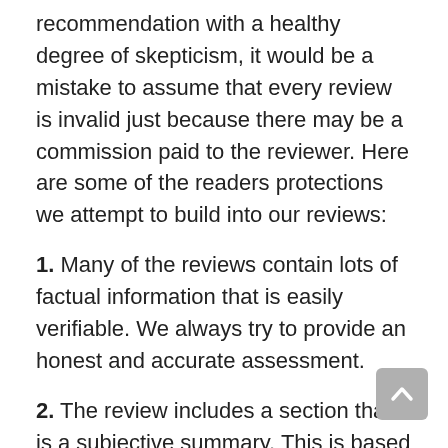recommendation with a healthy degree of skepticism, it would be a mistake to assume that every review is invalid just because there may be a commission paid to the reviewer. Here are some of the readers protections we attempt to build into our reviews:
1. Many of the reviews contain lots of factual information that is easily verifiable. We always try to provide an honest and accurate assessment.
2. The review includes a section that is a subjective summary. This is based on the personal experience of the reviewer.